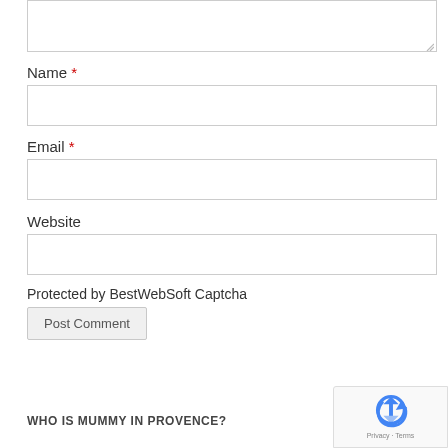[Figure (screenshot): Textarea input box (comment field, partially visible at top)]
Name *
[Figure (screenshot): Name text input field]
Email *
[Figure (screenshot): Email text input field]
Website
[Figure (screenshot): Website text input field]
Protected by BestWebSoft Captcha
Post Comment
WHO IS MUMMY IN PROVENCE?
[Figure (logo): reCAPTCHA badge with Privacy and Terms links]